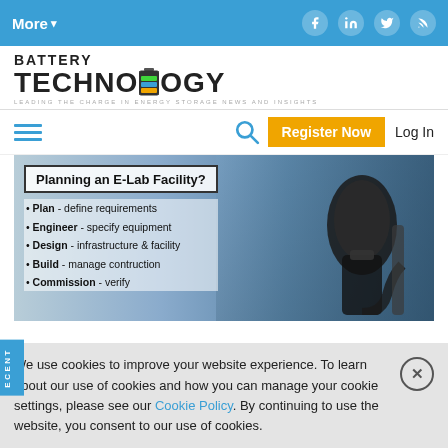More▾  [social icons: Facebook, LinkedIn, Twitter, RSS]
[Figure (logo): Battery Technology logo with battery icon in the word TECHNOLOGY, tagline: LEADING THE CHARGE IN ENERGY STORAGE NEWS AND INSIGHTS]
Hamburger menu | Search icon | Register Now | Log In
[Figure (photo): Advertisement image: Planning an E-Lab Facility? with bullet points: Plan - define requirements, Engineer - specify equipment, Design - infrastructure & facility, Build - manage contruction, Commission - verify. Background shows EV charging connector photo.]
We use cookies to improve your website experience. To learn about our use of cookies and how you can manage your cookie settings, please see our Cookie Policy. By continuing to use the website, you consent to our use of cookies.